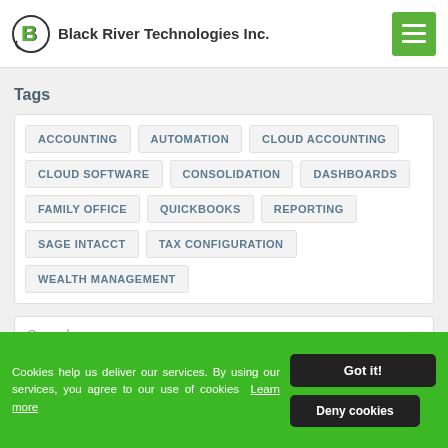Black River Technologies Inc.
Tags
ACCOUNTING
AUTOMATION
CLOUD ACCOUNTING
CLOUD SOFTWARE
CONSOLIDATION
DASHBOARDS
FAMILY OFFICE
QUICKBOOKS
REPORTING
SAGE INTACCT
TAX CONFIGURATION
WEALTH MANAGEMENT
Search
Cookies help us deliver our services. By using our services, you agree to our use of cookies Learn more